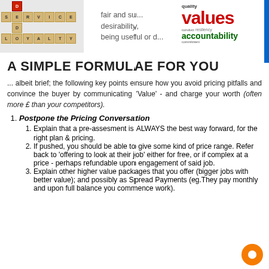[Figure (photo): Three images: scrabble tiles spelling SERVICE/DEBT/LOYALTY, a text block about fair and desirability/being useful, and a word cloud with 'values' and 'accountability']
A SIMPLE FORMULAE FOR YOU
... albeit brief; the following key points ensure how you avoid pricing pitfalls and convince the buyer by communicating 'Value' - and charge your worth (often more £ than your competitors).
Postpone the Pricing Conversation
Explain that a pre-assesment is ALWAYS the best way forward, for the right plan & pricing.
If pushed, you should be able to give some kind of price range. Refer back to 'offering to look at their job' either for free, or if complex at a price - perhaps refundable upon engagement of said job.
Explain other higher value packages that you offer (bigger jobs with better value); and possibly as Spread Payments (eg.They pay monthly and upon full balance you commence work).